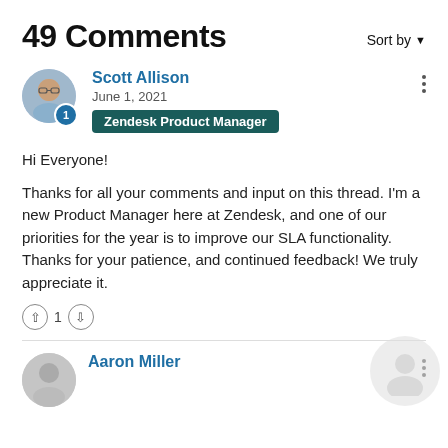49 Comments
Scott Allison
June 1, 2021
Zendesk Product Manager
Hi Everyone!

Thanks for all your comments and input on this thread. I'm a new Product Manager here at Zendesk, and one of our priorities for the year is to improve our SLA functionality. Thanks for your patience, and continued feedback! We truly appreciate it.
Aaron Miller